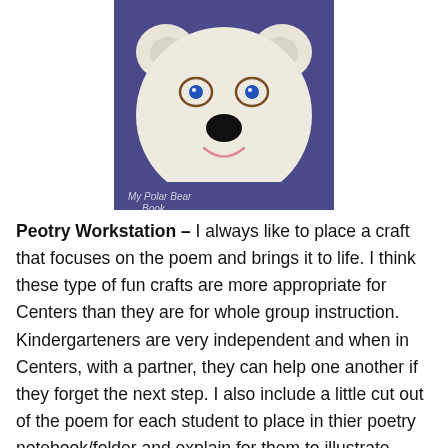[Figure (photo): A child's paper craft of a polar bear face. The bear head is made from a large white circular paper plate with two round white ears on top, blue dot eyes with brown oval outlines, a large black oval nose, and a pink curved smile. The bear is mounted on a purple background. At the bottom of the image, partially visible text reads 'My Polar Bear Book'.]
Peotry Workstation – I always like to place a craft that focuses on the poem and brings it to life. I think these type of fun crafts are more appropriate for Centers than they are for whole group instruction. Kindergarteners are very independent and when in Centers, with a partner, they can help one another if they forget the next step. I also include a little cut out of the poem for each student to place in thier poetry notebook/folder and explain for them to illustrate